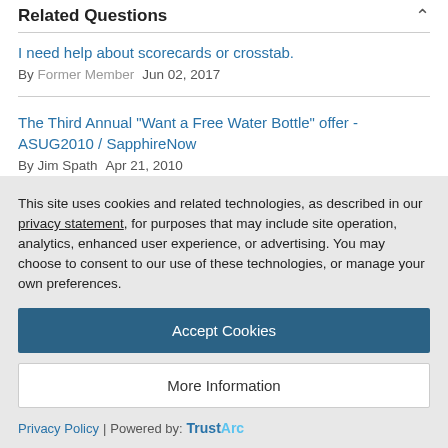Related Questions
I need help about scorecards or crosstab.
By Former Member  Jun 02, 2017
The Third Annual "Want a Free Water Bottle" offer - ASUG2010 / SapphireNow
By Jim Spath  Apr 21, 2010
Do I need a new SAP namespace for every ABAP Add On product
This site uses cookies and related technologies, as described in our privacy statement, for purposes that may include site operation, analytics, enhanced user experience, or advertising. You may choose to consent to our use of these technologies, or manage your own preferences.
Accept Cookies
More Information
Privacy Policy | Powered by: TrustArc